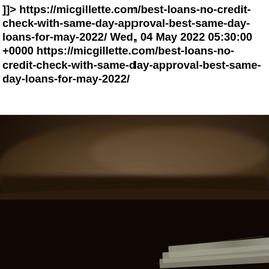]]> https://micgillette.com/best-loans-no-credit-check-with-same-day-approval-best-same-day-loans-for-may-2022/ Wed, 04 May 2022 05:30:00 +0000 https://micgillette.com/best-loans-no-credit-check-with-same-day-approval-best-same-day-loans-for-may-2022/
[Figure (photo): Close-up dark photograph showing what appears to be a leather wallet or billfold lying on a dark surface, with the edge of what looks like currency (paper money/bills) visible at the bottom right corner. The image is blurry and dimly lit with dark brown and black tones.]